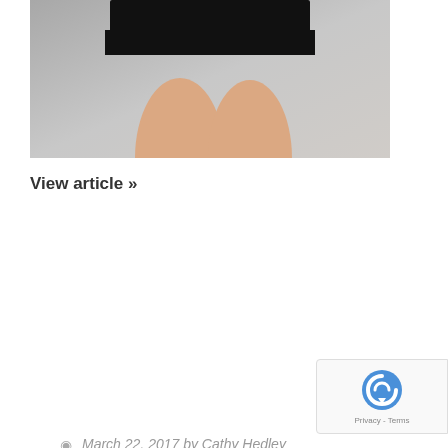[Figure (photo): Cropped photo showing legs of a person wearing a short dark dress or skirt, standing against a light grey wall background]
View article »
March 22, 2017 by Cathy Hedley
Tags: after tan after tan dress after tan wear after tanning wear ashy bines ashy bines fitness ashy bines tanning australia bbloggerau bbloggersau beach dress beach kaftan beach wear beauty expo beauty magazine beauty salon beautybloggeraustralia black magic black magic tan bloggersau bridal party digital kaftan embellished kaftan embellished kaftans fake tan fake tan dress fake tan kaftan fake tan onesie fake tanning fake tanning onesie fashion blogger australia jump suit jumpsuit kaftan kaftan dress kaftans katie schepis naked tan onesie play suit pretty chuffed printed kaftan professional beauty professional beauty magazine resort kaftan resort style kaftan resort wear resortwear